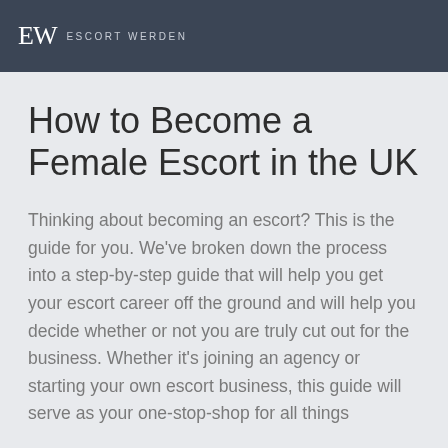EW ESCORT WERDEN
How to Become a Female Escort in the UK
Thinking about becoming an escort? This is the guide for you. We've broken down the process into a step-by-step guide that will help you get your escort career off the ground and will help you decide whether or not you are truly cut out for the business. Whether it's joining an agency or starting your own escort business, this guide will serve as your one-stop-shop for all things escort related.